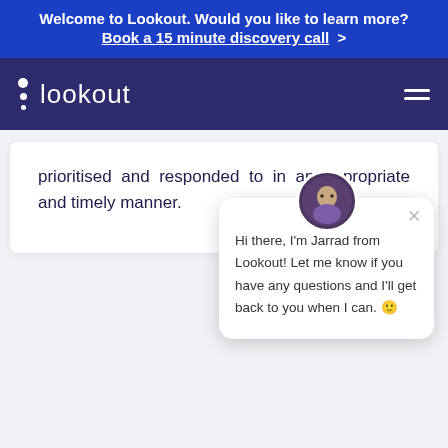Welcome to Lookout. Would you like to learn more? Book a 15 minute discovery call >
[Figure (logo): Lookout logo with three dots and text 'lookout' on dark purple navbar, hamburger menu icon on right]
prioritised and responded to in an appropriate and timely manner.
[Figure (screenshot): Chat popup with avatar of Jarrad, close button, and message: Hi there, I'm Jarrad from Lookout! Let me know if you have any questions and I'll get back to you when I can.]
Solutions
[Figure (other): Chat bubble icon in teal circle at bottom right]